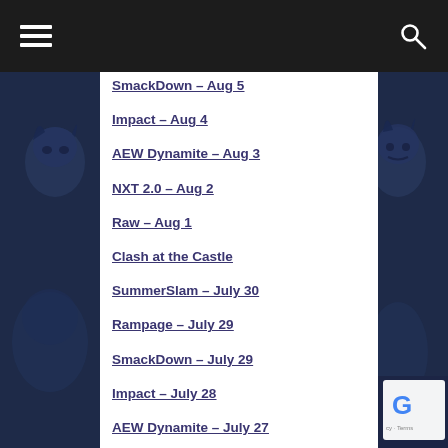Navigation header with hamburger menu and search icon
SmackDown – Aug 5
Impact – Aug 4
AEW Dynamite – Aug 3
NXT 2.0 – Aug 2
Raw – Aug 1
Clash at the Castle
SummerSlam – July 30
Rampage – July 29
SmackDown – July 29
Impact – July 28
AEW Dynamite – July 27
NXT 2.0 – July 26
Raw – July 25
ROH Death Before Dishonor – July 23
Rampage – July 22
SmackDown – July 22